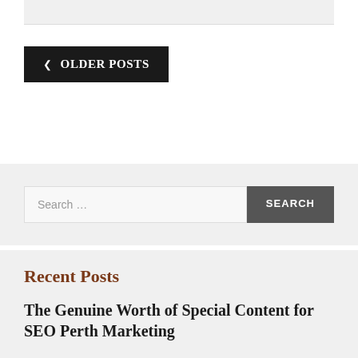❮  OLDER POSTS
Search …
SEARCH
Recent Posts
The Genuine Worth of Special Content for SEO Perth Marketing